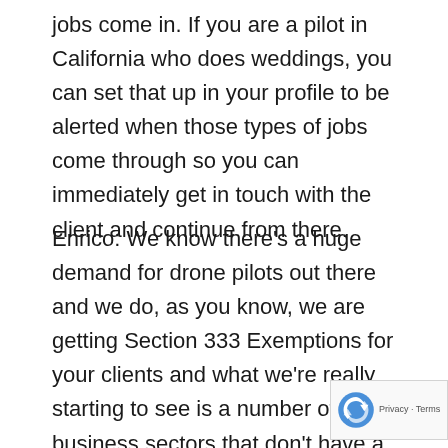jobs come in. If you are a pilot in California who does weddings, you can set that up in your profile to be alerted when those types of jobs come through so you can immediately get in touch with the client and continue from there.
Enrico: We know there's a huge demand for drone pilots out there and we do, as you know, we are getting Section 333 Exemptions for your clients and what we're really starting to see is a number of business sectors that don't have a pilot's license but they're going to go out and get a Section 333 Exemption and then hire a pilot for each job or hire an independent contractor to go out and do a series of jobs for them, so it really seems like what you're doin there is going to provide a lot of value. What if I'm a